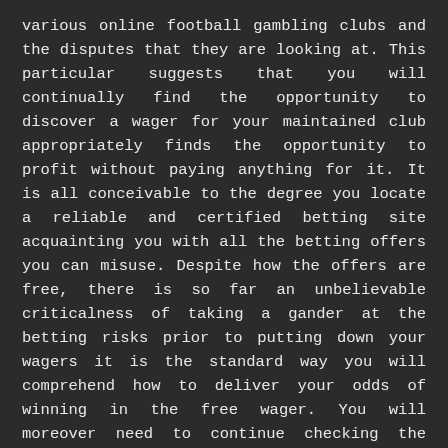various online football gambling clubs and the disputes that they are looking at. This particular suggests that you will continually find the opportunity to discover a wager for your maintained club appropriately finds the opportunity to profit without paying anything for it. It is all conceivable to the degree you locate a reliable and certified betting site acquainting you with all the betting offers you can misuse. Despite how the offers are free, there is so far an unbelievable criticalness of taking a gander at the betting risks prior to putting down your wagers it is the standard way you will comprehend how to deliver your odds of winning in the free wager. You will moreover need to continue checking the websites since the offers proceed and in turn around. You locate a solid and betting site acquainting you with all the free betting offers you can destroy.
The judi bola online games goes with a huge load of